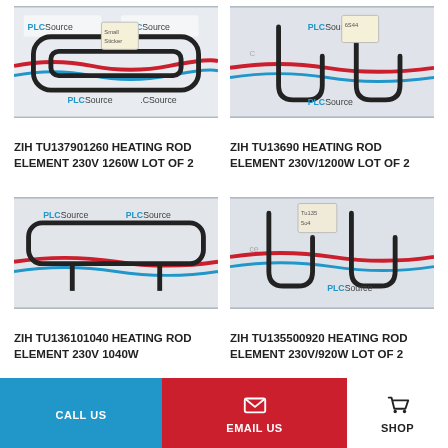[Figure (photo): Heating rod element product photo on PLC Source branded background - ZIH TU137901260]
ZIH TU137901260 HEATING ROD ELEMENT 230V 1260W LOT OF 2
[Figure (photo): Heating rod element product photo on PLC Source branded background - ZIH TU13690]
ZIH TU13690 HEATING ROD ELEMENT 230V/1200W LOT OF 2
[Figure (photo): Heating rod element product photo on PLC Source branded background - ZIH TU136101040]
ZIH TU136101040 HEATING ROD ELEMENT 230V 1040W
[Figure (photo): Heating rod element product photo on PLC Source branded background - ZIH TU135500920]
ZIH TU135500920 HEATING ROD ELEMENT 230V/920W LOT OF 2
CALL US   EMAIL US   SHOP